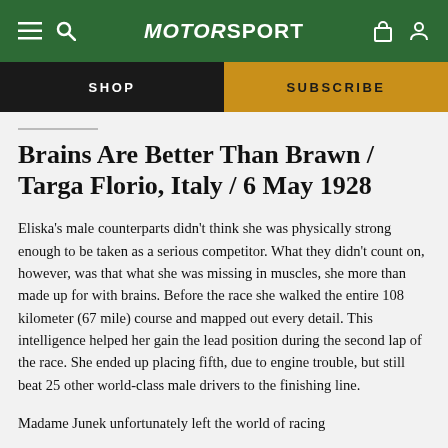MotorSport
SHOP | SUBSCRIBE
Brains Are Better Than Brawn / Targa Florio, Italy / 6 May 1928
Eliska's male counterparts didn't think she was physically strong enough to be taken as a serious competitor. What they didn't count on, however, was that what she was missing in muscles, she more than made up for with brains. Before the race she walked the entire 108 kilometer (67 mile) course and mapped out every detail. This intelligence helped her gain the lead position during the second lap of the race. She ended up placing fifth, due to engine trouble, but still beat 25 other world-class male drivers to the finishing line.
Madame Junek unfortunately left the world of racing